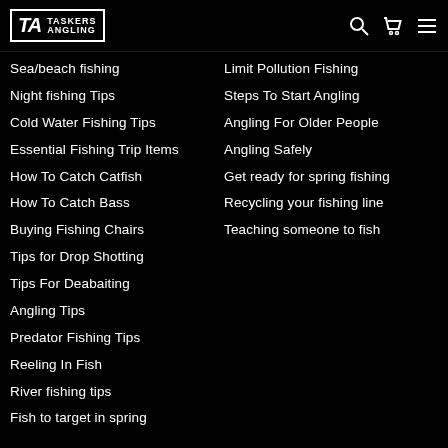TASKERS ANGLING
Sea/beach fishing
Night fishing Tips
Cold Water Fishing Tips
Essential Fishing Trip Items
How To Catch Catfish
How To Catch Bass
Buying Fishing Chairs
Tips for Drop Shotting
Tips For Deabaiting
Angling Tips
Predator Fishing Tips
Reeling In Fish
River fishing tips
Fish to target in spring
Limit Pollution Fishing
Steps To Start Angling
Angling For Older People
Angling Safely
Get ready for spring fishing
Recycling your fishing line
Teaching someone to fish